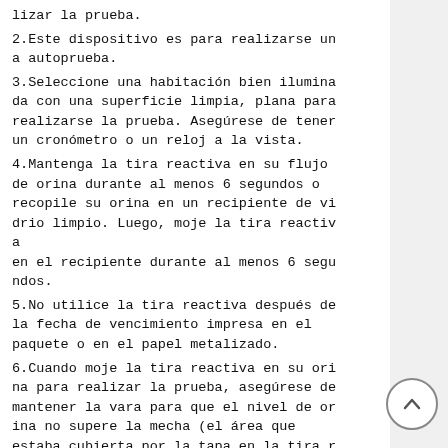lizar la prueba.
2.Este dispositivo es para realizarse una autoprueba.
3.Seleccione una habitación bien iluminada con una superficie limpia, plana para realizarse la prueba. Asegúrese de tener un cronómetro o un reloj a la vista.
4.Mantenga la tira reactiva en su flujo de orina durante al menos 6 segundos o recopile su orina en un recipiente de vidrio limpio. Luego, moje la tira reactiva
en el recipiente durante al menos 6 segundos.
5.No utilice la tira reactiva después de la fecha de vencimiento impresa en el paquete o en el papel metalizado.
6.Cuando moje la tira reactiva en su orina para realizar la prueba, asegúrese de mantener la vara para que el nivel de orina no supere la mecha (el área que estaba cubierta por la tapa en la tira reactiva). La prueba no funcionará en forma adecuada si el nivel de orina supera el área de la mecha. Es mejor usar